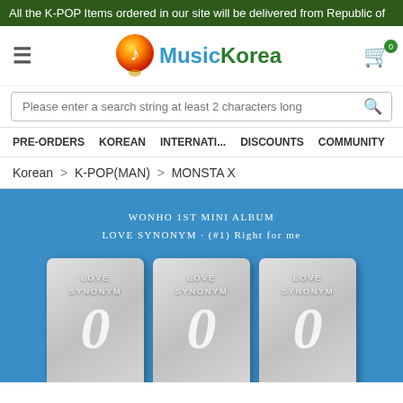All the K-POP Items ordered in our site will be delivered from Republic of
[Figure (logo): MusicKorea logo with music note icon, text 'Music' in blue and 'Korea' in green]
Please enter a search string at least 2 characters long
PRE-ORDERS  KOREAN  INTERNATI...  DISCOUNTS  COMMUNITY
Korean > K-POP(MAN) > MONSTA X
[Figure (photo): Product image showing three LOVE SYNONYM album covers against a blue background. Text on image: WONHO 1ST MINI ALBUM / LOVE SYNONYM · (#1) Right for me]